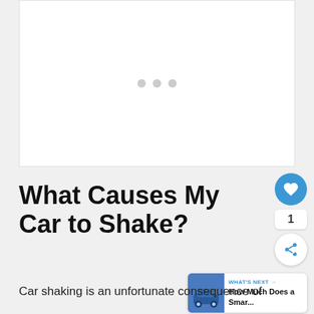[Figure (other): White advertisement placeholder area with three light gray loading dots centered]
What Causes My Car to Shake?
Car shaking is an unfortunate consequence of